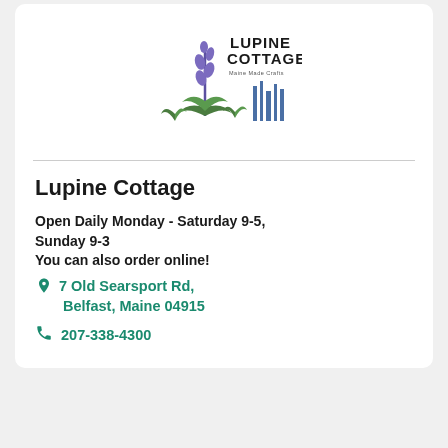[Figure (logo): Lupine Cottage Maine Made Crafts logo with lupine flower illustration and barcode-like graphic]
Lupine Cottage
Open Daily Monday - Saturday 9-5, Sunday 9-3
You can also order online!
7 Old Searsport Rd, Belfast, Maine 04915
207-338-4300
[Figure (logo): Green and tan circular logo, appears to be a chiropractic or wellness business logo]